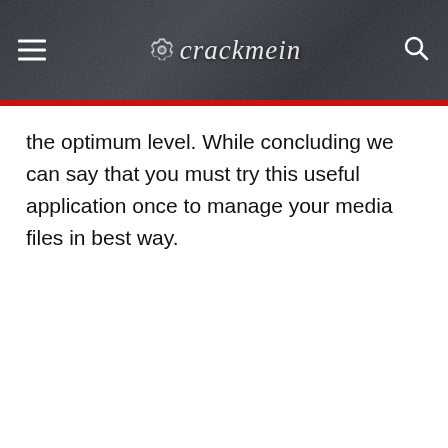crackmein
the optimum level. While concluding we can say that you must try this useful application once to manage your media files in best way.